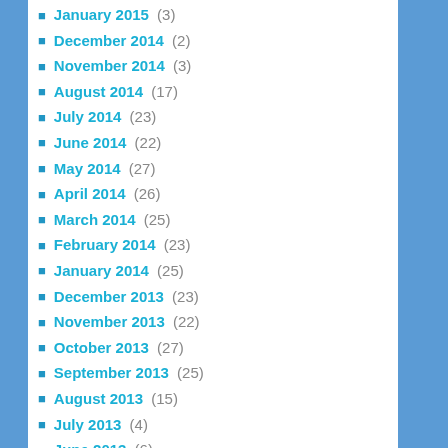January 2015 (3)
December 2014 (2)
November 2014 (3)
August 2014 (17)
July 2014 (23)
June 2014 (22)
May 2014 (27)
April 2014 (26)
March 2014 (25)
February 2014 (23)
January 2014 (25)
December 2013 (23)
November 2013 (22)
October 2013 (27)
September 2013 (25)
August 2013 (15)
July 2013 (4)
June 2013 (6)
May 2013 (7)
April 2013 (20)
March 2013 (23)
February 2013 (6)